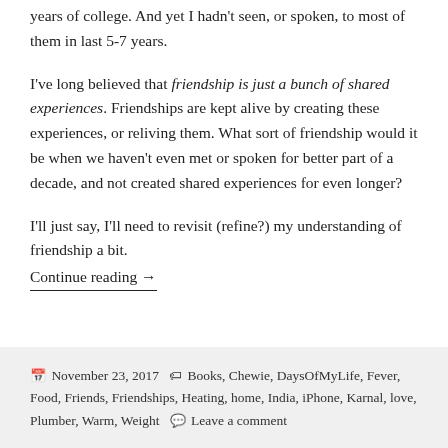years of college. And yet I hadn't seen, or spoken, to most of them in last 5-7 years.
I've long believed that friendship is just a bunch of shared experiences. Friendships are kept alive by creating these experiences, or reliving them. What sort of friendship would it be when we haven't even met or spoken for better part of a decade, and not created shared experiences for even longer?
I'll just say, I'll need to revisit (refine?) my understanding of friendship a bit.
Continue reading →
November 23, 2017 · Books, Chewie, DaysOfMyLife, Fever, Food, Friends, Friendships, Heating, home, India, iPhone, Karnal, love, Plumber, Warm, Weight · Leave a comment